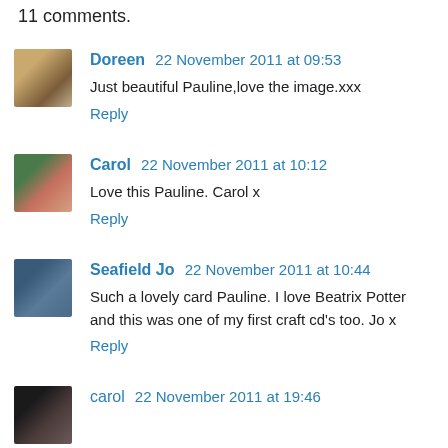11 comments.
Doreen 22 November 2011 at 09:53
Just beautiful Pauline,love the image.xxx
Reply
Carol 22 November 2011 at 10:12
Love this Pauline. Carol x
Reply
Seafield Jo 22 November 2011 at 10:44
Such a lovely card Pauline. I love Beatrix Potter and this was one of my first craft cd's too. Jo x
Reply
carol 22 November 2011 at 19:46